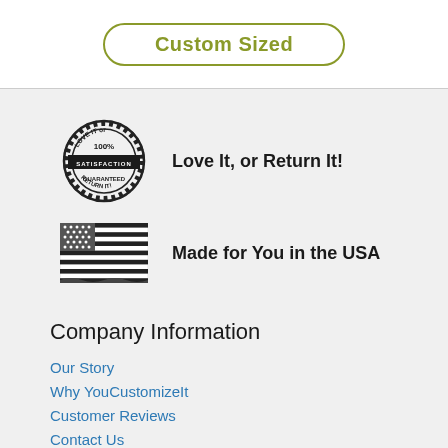Custom Sized
[Figure (illustration): Circular stamp/badge with text LOVE IT or 100% SATISFACTION GUARANTEED RETURN IT]
Love It, or Return It!
[Figure (illustration): American flag illustration in black and white]
Made for You in the USA
Company Information
Our Story
Why YouCustomizeIt
Customer Reviews
Contact Us